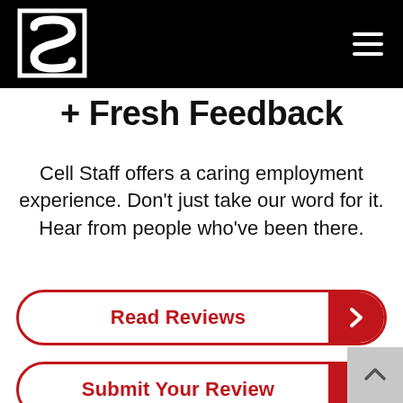Cell Staff logo and navigation header
+ Fresh Feedback
Cell Staff offers a caring employment experience. Don't just take our word for it. Hear from people who've been there.
Read Reviews
Submit Your Review